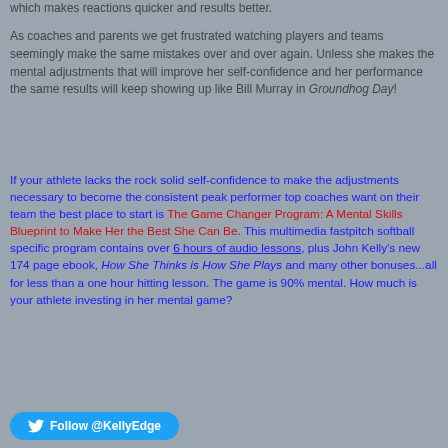which makes reactions quicker and results better.
As coaches and parents we get frustrated watching players and teams seemingly make the same mistakes over and over again. Unless she makes the mental adjustments that will improve her self-confidence and her performance the same results will keep showing up like Bill Murray in Groundhog Day!
If your athlete lacks the rock solid self-confidence to make the adjustments necessary to become the consistent peak performer top coaches want on their team the best place to start is The Game Changer Program: A Mental Skills Blueprint to Make Her the Best She Can Be. This multimedia fastpitch softball specific program contains over 6 hours of audio lessons, plus John Kelly's new 174 page ebook, How She Thinks is How She Plays and many other bonuses...all for less than a one hour hitting lesson. The game is 90% mental. How much is your athlete investing in her mental game?
Follow @KellyEdge